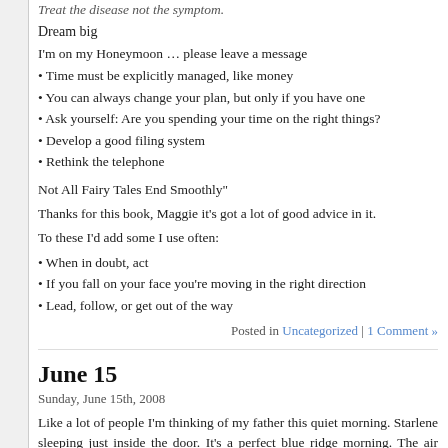Treat the disease not the symptom.
Dream big
I'm on my Honeymoon … please leave a message
• Time must be explicitly managed, like money
• You can always change your plan, but only if you have one
• Ask yourself: Are you spending your time on the right things?
• Develop a good filing system
• Rethink the telephone
Not All Fairy Tales End Smoothly"
Thanks for this book, Maggie it's got a lot of good advice in it.
To these I'd add some I use often:
• When in doubt, act
• If you fall on your face you're moving in the right direction
• Lead, follow, or get out of the way
Posted in Uncategorized | 1 Comment »
June 15
Sunday, June 15th, 2008
Like a lot of people I'm thinking of my father this quiet morning. Starlene sleeping just inside the door. It's a perfect blue ridge morning. The air smel… is filled with bird sounds and only the occasional rumble of a car or buzz…